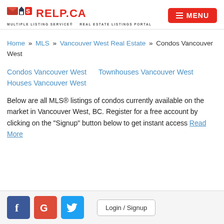[Figure (logo): MLS RELP.CA logo — Multiple Listing Service Real Estate Listings Portal — with red menu button]
Home » MLS » Vancouver West Real Estate » Condos Vancouver West
Condos Vancouver West    Townhouses Vancouver West    Houses Vancouver West
Below are all MLS® listings of condos currently available on the market in Vancouver West, BC. Register for a free account by clicking on the "Signup" button below to get instant access Read More
[Figure (infographic): Social login bar with Facebook, Google, Twitter icons and Login / Signup button]